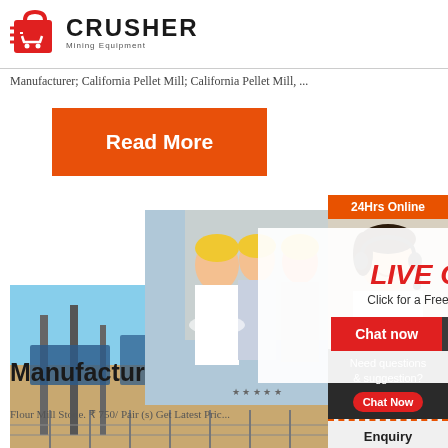[Figure (logo): Crusher Mining Equipment logo with red shopping bag icon and bold CRUSHER text]
Manufacturer; California Pellet Mill; California Pellet Mill, ...
[Figure (infographic): Orange Read More button]
[Figure (photo): Industrial mining/solar equipment photo]
[Figure (infographic): Live Chat popup with engineers photo, LIVE CHAT title, Click for a Free Consultation, Chat now and Chat later buttons]
[Figure (photo): 24Hrs Online sidebar with customer service agent photo, Need questions & suggestion chat now button, Enquiry link, limingjlmofen@sina.com email]
Manufacturers ...
Flour Mill Stone. ₹ 750/ Pair (s) Get Latest Pric...